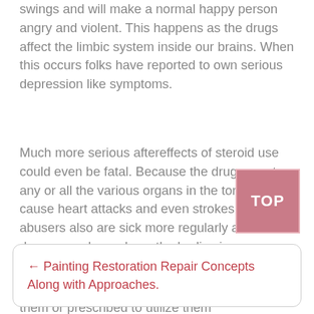swings and will make a normal happy person angry and violent. This happens as the drugs affect the limbic system inside our brains. When this occurs folks have reported to own serious depression like symptoms.
Much more serious aftereffects of steroid use could even be fatal. Because the drug goes to any or all the various organs in the torso it may cause heart attacks and even strokes. Steroid abusers also are sick more regularly as the drug severely weakens the bodies immune system.
It is recommended to keep far from anabolic steroids if you’re not with them or prescribed to utilize them for normal medical conditions. These drugs are truly addictive, have very negative side effects, and could even be fatal.
[Figure (other): TOP button - a pink/mauve square button with white bold text reading TOP]
← Painting Restoration Repair Concepts Along with Approaches.